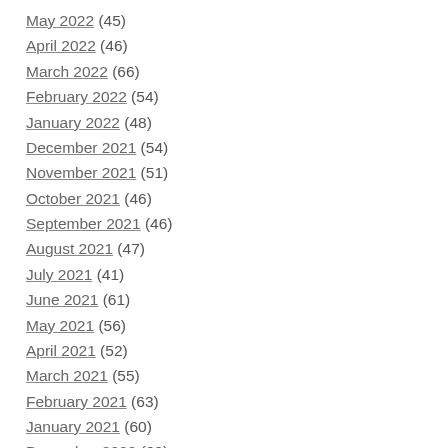May 2022 (45)
April 2022 (46)
March 2022 (66)
February 2022 (54)
January 2022 (48)
December 2021 (54)
November 2021 (51)
October 2021 (46)
September 2021 (46)
August 2021 (47)
July 2021 (41)
June 2021 (61)
May 2021 (56)
April 2021 (52)
March 2021 (55)
February 2021 (63)
January 2021 (60)
December 2020 (69)
November 2020 (74)